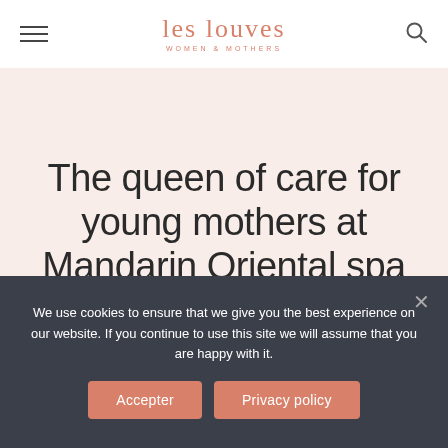les louves — WOMEN & MOTHERS
The queen of care for young mothers at Mandarin Oriental spa
We use cookies to ensure that we give you the best experience on our website. If you continue to use this site we will assume that you are happy with it.
Accepter
Privacy policy